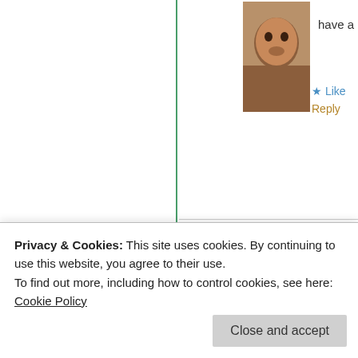[Figure (photo): Profile photo of a person, cropped close to face]
have a
★ Like
Reply
Polysyllabic Profundities
December 1, 2015
[Figure (photo): Vintage typewriter image used as commenter avatar]
I'll be 47 in Ma with that. 🙂
★ Liked by 1 per
Reply
Laissez Faire
Privacy & Cookies: This site uses cookies. By continuing to use this website, you agree to their use.
To find out more, including how to control cookies, see here:
Cookie Policy
Close and accept